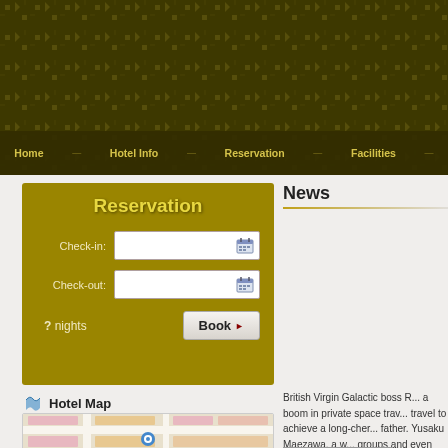Home | Hotel Info | Reservation | Facilities
Reservation
Check-in:
Check-out:
? nights  Book
Hotel Map
[Figure (map): Hotel location map showing streets and building footprints in pink and beige tones with a blue location marker pin.]
News
British Virgin Galactic boss R... a boom in private space trav... travel to achieve a long-cher... father. Yusaku Maezawa, a w... groups and even used the op...